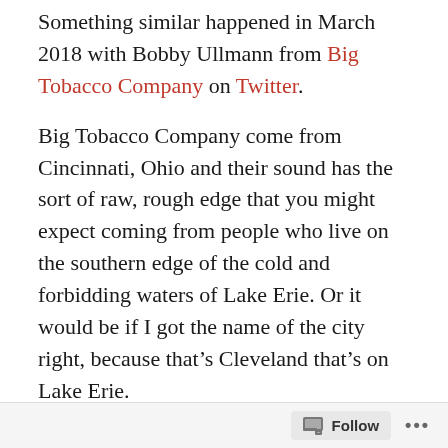Something similar happened in March 2018 with Bobby Ullmann from Big Tobacco Company on Twitter.
Big Tobacco Company come from Cincinnati, Ohio and their sound has the sort of raw, rough edge that you might expect coming from people who live on the southern edge of the cold and forbidding waters of Lake Erie. Or it would be if I got the name of the city right, because that’s Cleveland that’s on Lake Erie.
Ok, American geography is not a strong suit. I have Google Maps.
I’m just guessing that if you’re that far up the
Follow ...